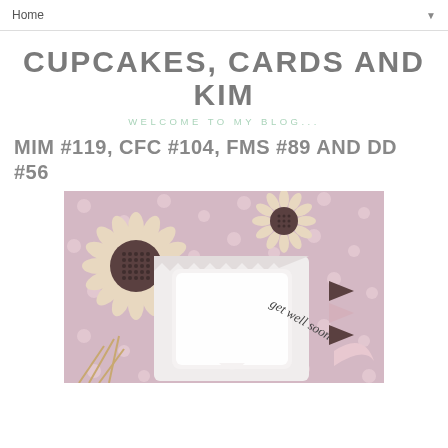Home ▼
CUPCAKES, CARDS AND KIM
WELCOME TO MY BLOG...
MIM #119, CFC #104, FMS #89 AND DD #56
[Figure (photo): Close-up photo of a handmade greeting card with sunflower stamps, pink polka dot paper, zig-zag white layers, and a tag reading 'get well soon' with brown and pink banner embellishments]